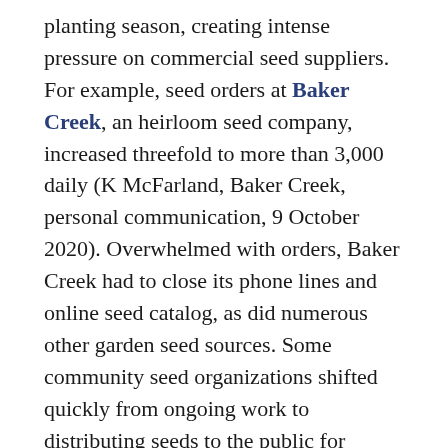planting season, creating intense pressure on commercial seed suppliers. For example, seed orders at Baker Creek, an heirloom seed company, increased threefold to more than 3,000 daily (K McFarland, Baker Creek, personal communication, 9 October 2020). Overwhelmed with orders, Baker Creek had to close its phone lines and online seed catalog, as did numerous other garden seed sources. Some community seed organizations shifted quickly from ongoing work to distributing seeds to the public for growing food for themselves and those without access to fresh produce or garden space.
What Values and Theories Underpin Some United States Community Seed Organizations?